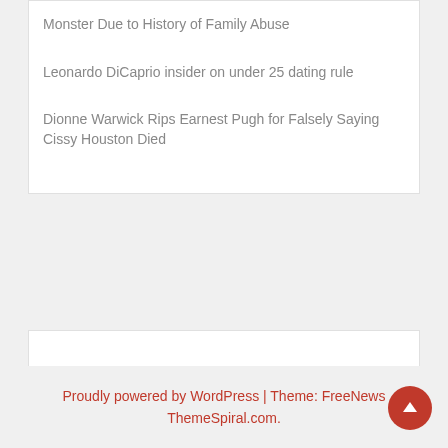Monster Due to History of Family Abuse
Leonardo DiCaprio insider on under 25 dating rule
Dionne Warwick Rips Earnest Pugh for Falsely Saying Cissy Houston Died
Proudly powered by WordPress | Theme: FreeNews ThemeSpiral.com.